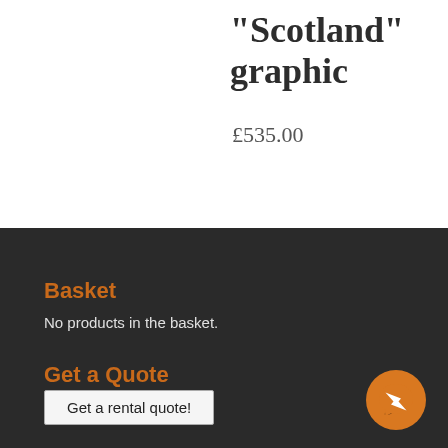“Scotland” graphic
£535.00
Basket
No products in the basket.
Get a Quote
Get a rental quote!
[Figure (other): Orange circular Facebook Messenger chat button]